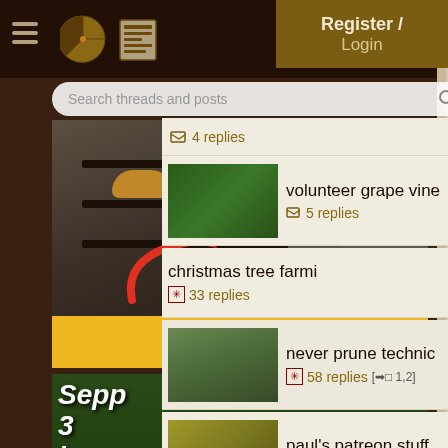Navigation bar with hamburger menu, pie icon, newspaper icon
Search threads and posts
[Figure (photo): Advertisement for building an outdoor wood-fired oven with arrow pointing to bread inside oven. Yellow banner at bottom reads 'Build this!']
[Figure (photo): Advertisement for 'Sepp 3 in 1 Documentaries' showing two elderly people harvesting greens]
[Figure (photo): Partial view of a wooden sign advertisement at bottom left]
Register / Login
4 replies
[Figure (photo): Thumbnail of grape vines / green leafy plant]
volunteer grape vine
5 replies
christmas tree farmi
33 replies
[Figure (photo): Thumbnail of trees/shrubs in a yard]
never prune technic
58 replies  [→□ 1,2]
[Figure (photo): Thumbnail showing garden/nature scene]
paul's patreon stuff
222 replies  [→□ 1,2,3,4